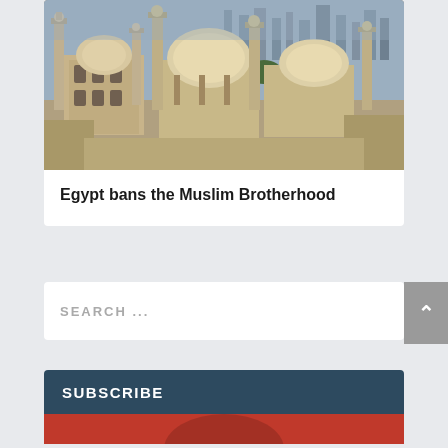[Figure (photo): Aerial photo of mosque complex in Egypt (Cairo) with domes and minarets, city skyline visible in background]
Egypt bans the Muslim Brotherhood
SEARCH ...
SUBSCRIBE